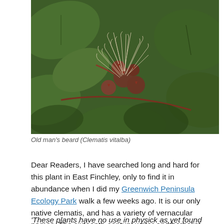[Figure (photo): Close-up photograph of Old man's beard (Clematis vitalba) showing fluffy seed heads with wispy white tendrils and reddish-brown stems against green leaves.]
Old man's beard (Clematis vitalba)
Dear Readers, I have searched long and hard for this plant in East Finchley, only to find it in abundance when I did my Greenwich Peninsula Ecology Park walk a few weeks ago. It is our only native clematis, and has a variety of vernacular names. The sixteenth-century writer and herbalist John Gerard christened it 'traveller's-joy' :
'These plants have no use in physick as yet found out, but are